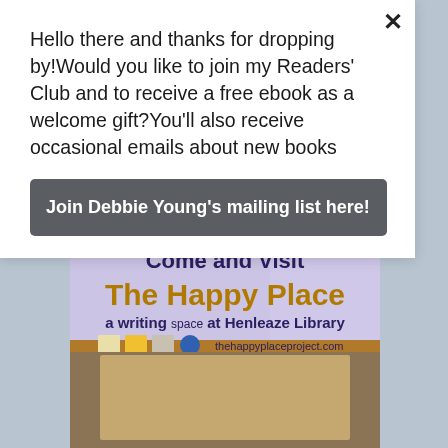[Figure (photo): Background website page with light blue-grey background, partially visible. Shows bottom of one photo at top and a second photo of a library banner reading 'Come and Visit The Happy Place a writing space at Henleaze Library thehappyplaceproject.com' displayed on a banner sign inside a library.]
Hello there and thanks for dropping by!Would you like to join my Readers' Club and to receive a free ebook as a welcome gift?You'll also receive occasional emails about new books
Join Debbie Young's mailing list here!